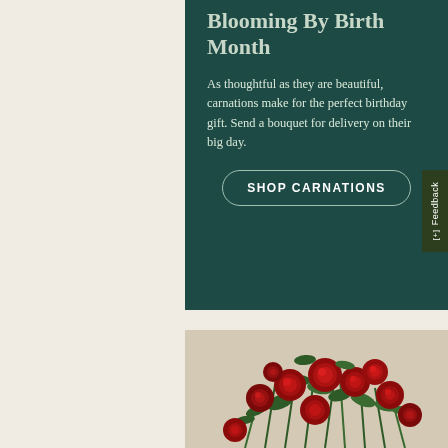Blooming By Birth Month
As thoughtful as they are beautiful, carnations make for the perfect birthday gift. Send a bouquet for delivery on their big day.
SHOP CARNATIONS
[Figure (photo): A lush bouquet of red roses with green foliage on a light background, viewed from above/front angle.]